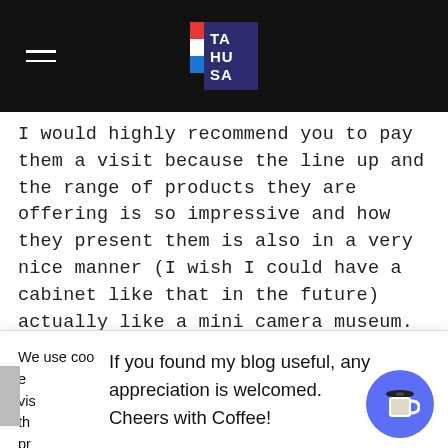[Figure (screenshot): Website navigation bar with hamburger menu icon on left and TAHUSA logo in center on black background]
I would highly recommend you to pay them a visit because the line up and the range of products they are offering is so impressive and how they present them is also in a very nice manner (I wish I could have a cabinet like that in the future) actually like a mini camera museum.
Fotopia Website: www.fotopia.com.hk
We use cookies on our website to give you the most relevant experience by remembering your preferences and repeat visits. By clicking "Accept", you consent to the use of ALL the cookies. However you may visit "Cookie Settings" to provide a controlled consent.
If you found my blog useful, any appreciation is welcomed. Cheers with Coffee!